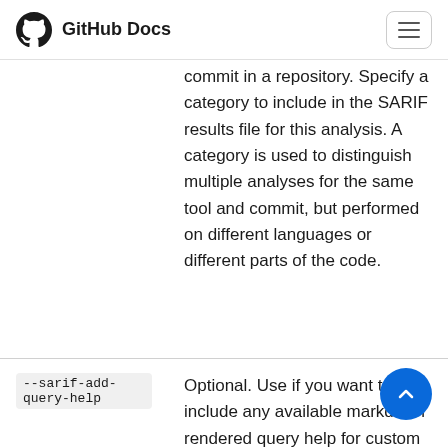GitHub Docs
commit in a repository. Specify a category to include in the SARIF results file for this analysis. A category is used to distinguish multiple analyses for the same tool and commit, but performed on different languages or different parts of the code.
--sarif-add-query-help
Optional. Use if you want to include any available markdown rendered query help for custom queries